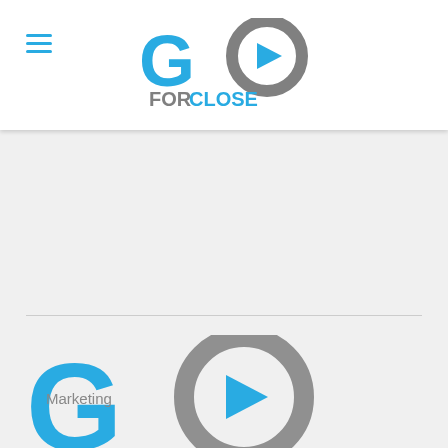GoForClose
[Figure (logo): GoForClose logo — large blue 'GO' letters with gray circle containing a blue play button triangle, and 'FORCLOSE' text below in gray and blue]
Marketing